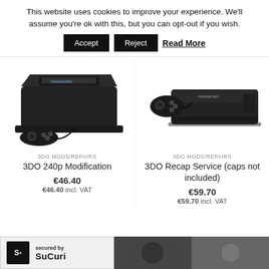This website uses cookies to improve your experience. We'll assume you're ok with this, but you can opt-out if you wish.
Accept | Reject | Read More
[Figure (photo): Photo of a Panasonic 3DO game console (FZ-1 model) in black with a controller, viewed from a slight angle]
[Figure (photo): Photo of a Panasonic 3DO game console (FZ-10 model) in black with a controller]
3DO MODS/REPAIRS
3DO 240p Modification
€46.40
€46.40 incl. VAT
3DO MODS/REPAIRS
3DO Recap Service (caps not included)
€59.70
€59.70 incl. VAT
[Figure (screenshot): Sucuri security badge with S+ logo and 'secured by Sucuri' text]
[Figure (photo): Partial photo at bottom right, partially visible product image]